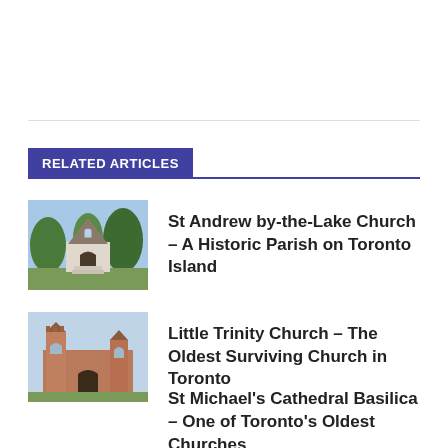RELATED ARTICLES
St Andrew by-the-Lake Church – A Historic Parish on Toronto Island
Little Trinity Church – The Oldest Surviving Church in Toronto
St Michael's Cathedral Basilica – One of Toronto's Oldest Churches